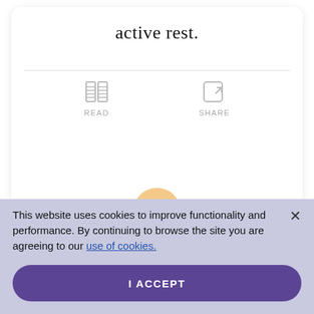active rest.
[Figure (screenshot): READ and SHARE icon buttons below a divider line in a white card]
[Figure (illustration): Circular avatar icon partially visible, peach/gold color with a darker dot center]
This website uses cookies to improve functionality and performance. By continuing to browse the site you are agreeing to our use of cookies.
I ACCEPT